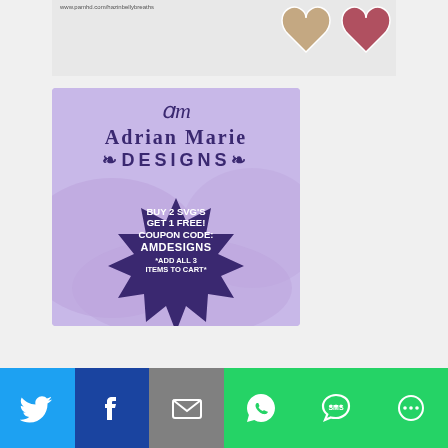[Figure (photo): Top partial banner with URL www.pamhd.com/hazinbellybreaths and two heart-shaped photo cutouts on the right side]
[Figure (infographic): Adrian Marie Designs advertisement on purple/lavender background. Logo with stylized 'm', text 'Adrian Marie Designs', starburst badge reading: BUY 2 SVG'S GET 1 FREE! COUPON CODE: AMDESIGNS *ADD ALL 3 ITEMS TO CART*]
[Figure (infographic): Social sharing bar with six buttons: Twitter (blue bird), Facebook (dark blue 'f'), Email (grey envelope), WhatsApp (green chat), SMS (green speech bubble), More (green circular icon)]